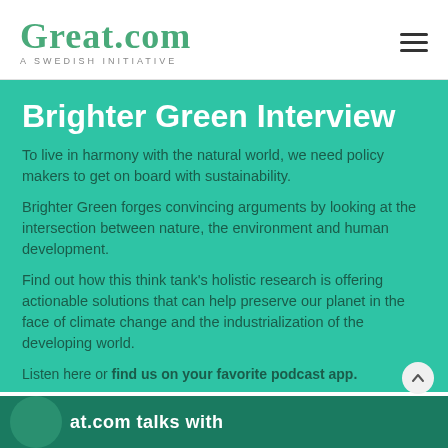Great.com — A SWEDISH INITIATIVE
Brighter Green Interview
To live in harmony with the natural world, we need policy makers to get on board with sustainability.
Brighter Green forges convincing arguments by looking at the intersection between nature, the environment and human development.
Find out how this think tank's holistic research is offering actionable solutions that can help preserve our planet in the face of climate change and the industrialization of the developing world.
Listen here or find us on your favorite podcast app.
[Figure (screenshot): Podcast episode thumbnail showing 'at.com talks with' text and circular portrait images on a dark teal background]